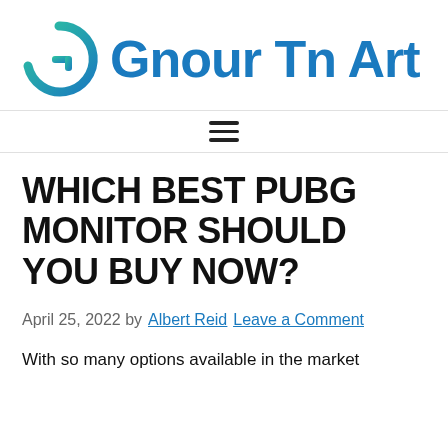Gnour Tn Art
WHICH BEST PUBG MONITOR SHOULD YOU BUY NOW?
April 25, 2022 by Albert Reid Leave a Comment
With so many options available in the market